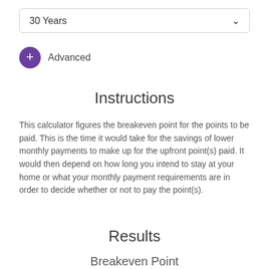30 Years
+ Advanced
Instructions
This calculator figures the breakeven point for the points to be paid. This is the time it would take for the savings of lower monthly payments to make up for the upfront point(s) paid. It would then depend on how long you intend to stay at your home or what your monthly payment requirements are in order to decide whether or not to pay the point(s).
Results
Breakeven Point